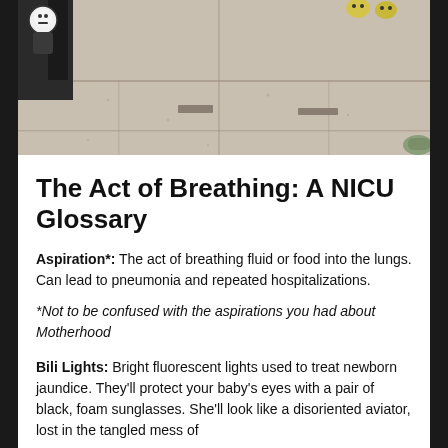[Figure (photo): Outdoor photograph showing a sidewalk/pavement with concrete slabs. A small character/toy figure is visible at the top left, and what appears to be small yellow objects at the top. A shoe/sandal is partially visible at the right edge.]
The Act of Breathing: A NICU Glossary
Aspiration*: The act of breathing fluid or food into the lungs. Can lead to pneumonia and repeated hospitalizations.
*Not to be confused with the aspirations you had about Motherhood
Bili Lights: Bright fluorescent lights used to treat newborn jaundice. They'll protect your baby's eyes with a pair of black, foam sunglasses. She'll look like a disoriented aviator, lost in the tangled mess of